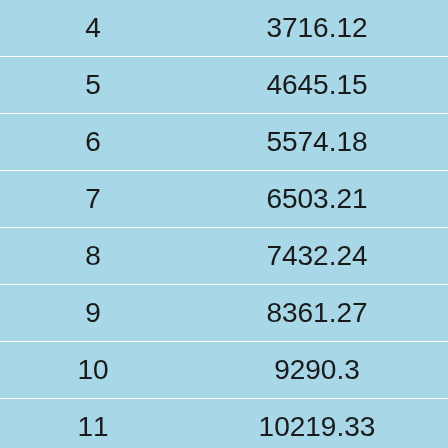| 4 | 3716.12 |
| 5 | 4645.15 |
| 6 | 5574.18 |
| 7 | 6503.21 |
| 8 | 7432.24 |
| 9 | 8361.27 |
| 10 | 9290.3 |
| 11 | 10219.33 |